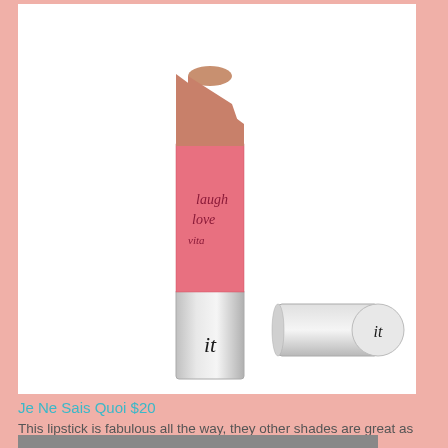[Figure (photo): IT Cosmetics lipstick in a pink tube with 'laugh love vita' text written on it, shown next to its silver cap. The bullet is a nude/rosy mauve color. Brand logo 'it' visible on both tube and cap.]
Je Ne Sais Quoi $20
This lipstick is fabulous all the way, they other shades are great as well but this one is special.
Weekend Giveaway
[Figure (photo): A woman holding IT Cosmetics products, wearing makeup, partial face visible showing eye makeup.]